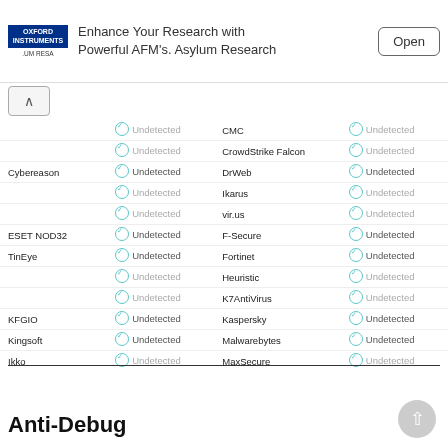[Figure (other): Advertisement banner: Oxford Instruments logo, text 'Enhance Your Research with Powerful AFM's. Asylum Research', Open button]
| Vendor | Status | Vendor | Status |
| --- | --- | --- | --- |
|  | Undetected | CMC | Undetected |
|  | Undetected | CrowdStrike Falcon | Undetected |
| Cybereason | Undetected | DrWeb | Undetected |
|  | Undetected | Ikarus | Undetected |
|  | Undetected | Vir.us | Undetected |
| ESET NOD32 | Undetected | F-Secure | Undetected |
| TinEye | Undetected | Fortinet | Undetected |
|  | Undetected | Heuristic | Undetected |
|  | Undetected | K7AntiVirus | Undetected |
| KFGIO | Undetected | Kaspersky | Undetected |
| Kingsoft | Undetected | Malwarebytes | Undetected |
| Ikko | Undetected | MaxSecure | Undetected |
| McAfee | Undetected | Microsoft | Undetected |
| NANO Antivirus | Undetected | Palo Alto Networks | Undetected |
| Panda | Undetected | Qihoo 360 | Undetected |
| SentinelOne (Static ML) | Undetected | SUPERAntiSpyware | Undetected |
| TACHYON | Undetected | Tencent | Undetected |
| TotalDefense | Undetected | TrendMicro | Undetected |
| TrendMicro-HouseCall | Undetected | VIPRE | Undetected |
| VRobot | Undetected | Webroot | Undetected |
Anti-Debug